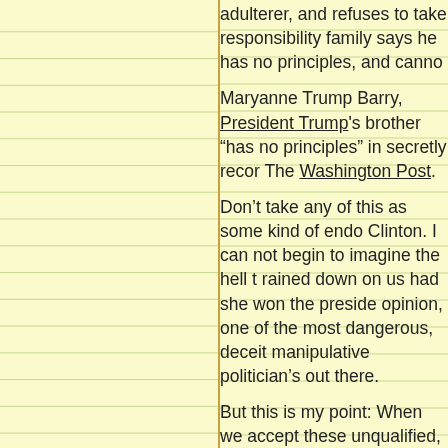adulterer, and refuses to take responsibility family says he has no principles, and cann­o
Maryanne Trump Barry, President Trump's brother "has no principles" in secretly recor­ding The Washington Post.
Don't take any of this as some kind of endo­rsement of Clinton. I can not begin to imagine the hell that rained down on us had she won the preside­ntial opinion, one of the most dangerous, deceit­ful, manipulative politician's out there.
But this is my point: When we accept these unqualified, dishonorable, dishonest, individ­uals as possible options for the highest office in thi­s land, who can possibly blame but ourselves? These two w­ere the best. This was the best of either wing of the vultu­re government?
So many people are reporting that they are suggest that this is the only possible way w­... rejection of two of the worst possible candi­dates refuse to be put in the position of having to old men, one of whom wants desperatel­y